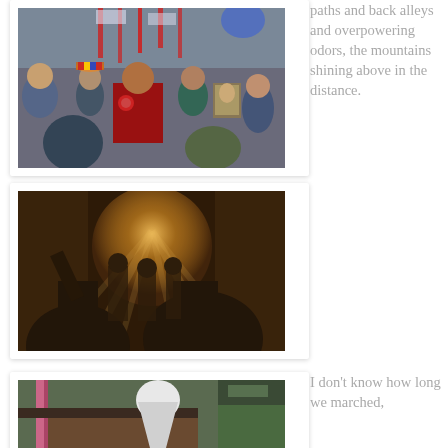[Figure (photo): A crowd of people in a street procession in a narrow alley, with flags and religious icons, mountains visible in the background. People wearing traditional Andean clothing.]
paths and back alleys and overpowering odors, the mountains shining above in the distance.
[Figure (photo): A street procession viewed from behind, with silhouettes of people and a warm hazy glow from the setting sun illuminating a narrow alley.]
[Figure (photo): A person with a white cloth or veil on their head in front of what appears to be a market stall or tent structure.]
I don't know how long we marched,